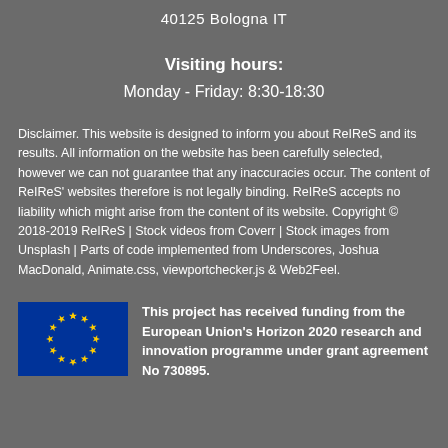40125 Bologna IT
Visiting hours:
Monday - Friday: 8:30-18:30
Disclaimer. This website is designed to inform you about ReIReS and its results. All information on the website has been carefully selected, however we can not guarantee that any inaccuracies occur. The content of ReIReS' websites therefore is not legally binding. ReIReS accepts no liability which might arise from the content of its website. Copyright © 2018-2019 ReIReS | Stock videos from Coverr | Stock images from Unsplash | Parts of code implemented from Underscores, Joshua MacDonald, Animate.css, viewportchecker.js & Web2Feel.
[Figure (logo): European Union flag with blue background and yellow stars in a circle]
This project has received funding from the European Union's Horizon 2020 research and innovation programme under grant agreement No 730895.